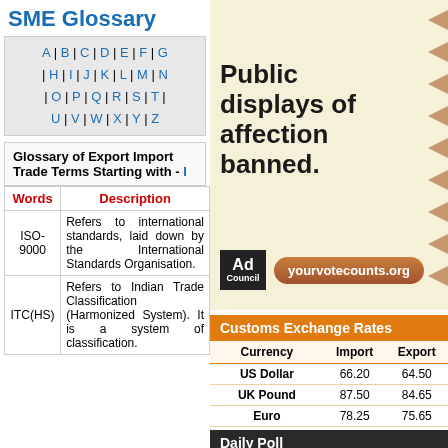SME Glossary
A | B | C | D | E | F | G | H | I | J | K | L | M | N | O | P | Q | R | S | T | U | V | W | X | Y | Z
Glossary of Export Import Trade Terms Starting with - I
| Words | Description |
| --- | --- |
| ISO-9000 | Refers to international standards, laid down by the International Standards Organisation. |
| ITC(HS) | Refers to Indian Trade Classification (Harmonized System). It is a system of classification... |
[Figure (illustration): Advertisement: Public displays of affection banned. Ad Council yourvotecounts.org]
| Currency | Import | Export |
| --- | --- | --- |
| US Dollar | 66.20 | 64.50 |
| UK Pound | 87.50 | 84.65 |
| Euro | 78.25 | 75.65 |
| Japanese Yen | 58.85 | 56.85 |
As on 13 Aug.
Daily Poll